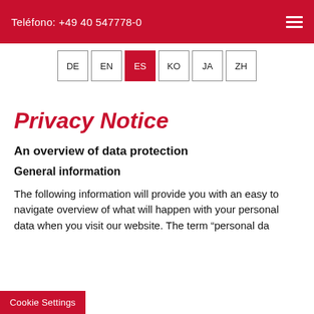Teléfono: +49 40 547778-0
DE EN ES KO JA ZH
Privacy Notice
An overview of data protection
General information
The following information will provide you with an easy to navigate overview of what will happen with your personal data when you visit our website. The term "personal data" comprises all data that can be used to
Cookie Settings